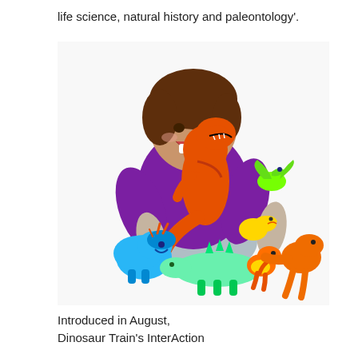life science, natural history and paleontology'.
[Figure (photo): A smiling young boy in a purple shirt sitting cross-legged on the ground, surrounded by colorful Dinosaur Train toy dinosaur figures including orange, blue, green, and yellow dinosaurs.]
Introduced in August, Dinosaur Train's InterAction